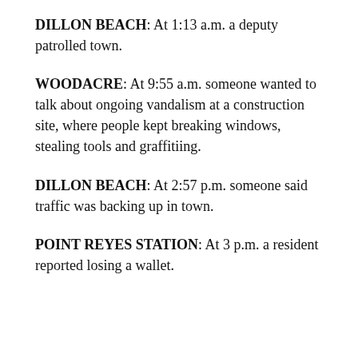DILLON BEACH: At 1:13 a.m. a deputy patrolled town.
WOODACRE: At 9:55 a.m. someone wanted to talk about ongoing vandalism at a construction site, where people kept breaking windows, stealing tools and graffitiing.
DILLON BEACH: At 2:57 p.m. someone said traffic was backing up in town.
POINT REYES STATION: At 3 p.m. a resident reported losing a wallet.